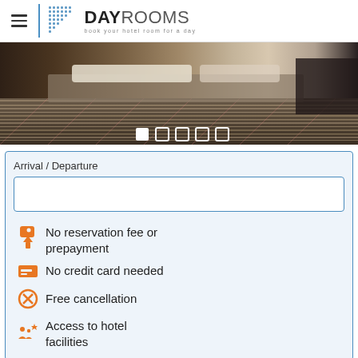DAYROOMS – book your hotel room for a day
[Figure (photo): Hotel room photo showing bed and striped carpet, with carousel navigation dots below]
Arrival / Departure
No reservation fee or prepayment
No credit card needed
Free cancellation
Access to hotel facilities